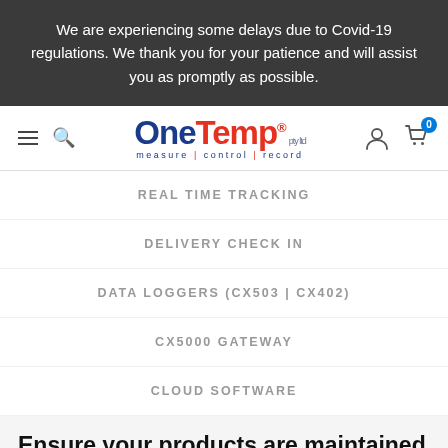We are experiencing some delays due to Covid-19 regulations. We thank you for your patience and will assist you as promptly as possible.
[Figure (logo): OneTemp pty ltd logo with tagline measure | control | record]
REAL TIME TRACKING
DELIVERY CHECK IN
DATA LOGGERS (CX503 | CX402)
CX5000 GATEWAY
CLOUD SOFTWARE
Ensure your products are maintained